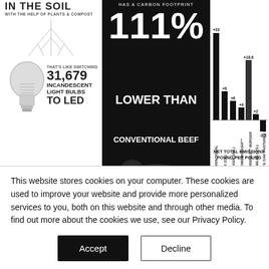[Figure (infographic): Top-left infographic panel showing text 'IN THE SOIL WITH THE HELP OF PLANTS & COMPOST' with plant/root illustration, lightbulb graphic, text 'THAT'S LIKE SWITCHING 31,679 INCANDESCENT LIGHT BULBS TO LED']
[Figure (infographic): Center black panel showing '111% LOWER THAN CONVENTIONAL BEEF HAS A CARBON FOOTPRINT' with large typography on black background]
[Figure (bar-chart): NET TOTAL EMISSIONS POUND PER POUND]
[Figure (infographic): Bottom section showing a black box labeled 'BELCHES & GAS +29' and large text 'WE STORE MORE CARBON IN THE SOIL THAN OUR COWS EMIT']
This website stores cookies on your computer. These cookies are used to improve your website and provide more personalized services to you, both on this website and through other media. To find out more about the cookies we use, see our Privacy Policy.